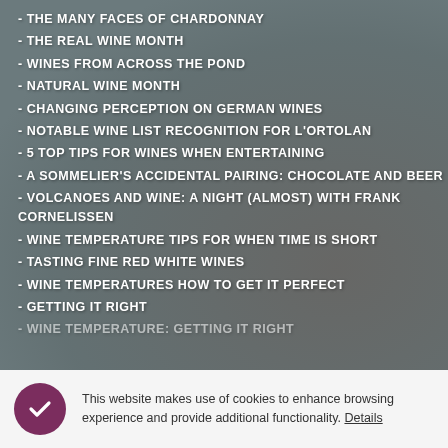- THE MANY FACES OF CHARDONNAY
- THE REAL WINE MONTH
- WINES FROM ACROSS THE POND
- NATURAL WINE MONTH
- CHANGING PERCEPTION ON GERMAN WINES
- NOTABLE WINE LIST RECOGNITION FOR L'ORTOLAN
- 5 TOP TIPS FOR WINES WHEN ENTERTAINING
- A SOMMELIER'S ACCIDENTAL PAIRING: CHOCOLATE AND BEER
- VOLCANOES AND WINE: A NIGHT (ALMOST) WITH FRANK CORNELISSEN
- WINE TEMPERATURE TIPS FOR WHEN TIME IS SHORT
- TASTING FINE RED WHITE WINES
- WINE TEMPERATURES HOW TO GET IT PERFECT
- GETTING IT RIGHT
- WINE TEMPERATURE: GETTING IT RIGHT
This website makes use of cookies to enhance browsing experience and provide additional functionality. Details